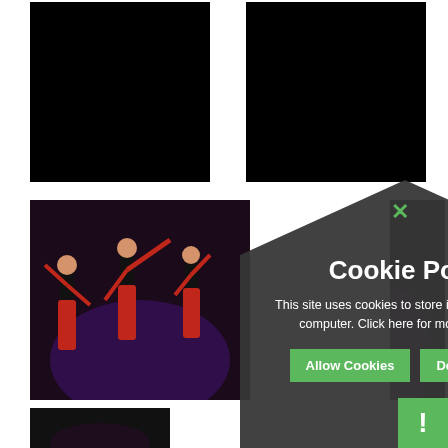[Figure (photo): Black rectangle placeholder image (top left)]
[Figure (photo): Black rectangle placeholder image (top right)]
[Figure (photo): Dance performance photo showing performers in red and black costumes on stage with purple lighting]
[Figure (photo): Partial view of dance performance (right side), dark background]
[Figure (photo): Bottom partial image, dark/black]
Cookie Policy
This site uses cookies to store information on your computer. Click here for more information
Allow Cookies
Deny Cookies